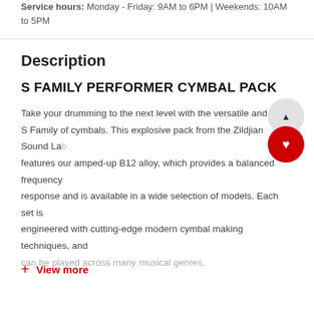Service hours: Monday - Friday: 9AM to 6PM | Weekends: 10AM to 5PM
Description
S FAMILY PERFORMER CYMBAL PACK
Take your drumming to the next level with the versatile and exp... S Family of cymbals. This explosive pack from the Zildjian Sound Lab... features our amped-up B12 alloy, which provides a balanced frequency response and is available in a wide selection of models. Each set is engineered with cutting-edge modern cymbal making techniques, and can be played across many musical genres.
+ View more